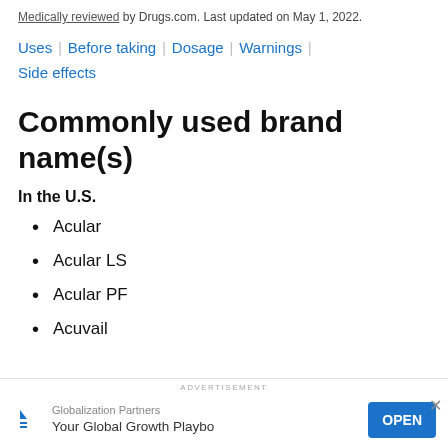Medically reviewed by Drugs.com. Last updated on May 1, 2022.
Uses | Before taking | Dosage | Warnings | Side effects
Commonly used brand name(s)
In the U.S.
Acular
Acular LS
Acular PF
Acuvail